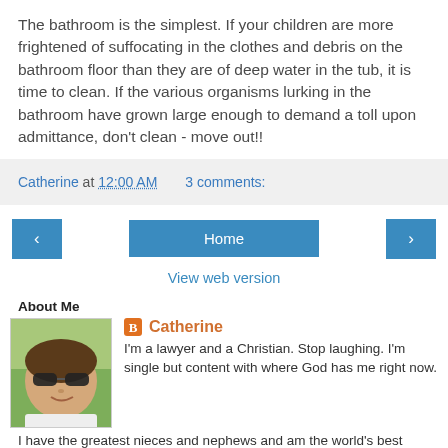The bathroom is the simplest. If your children are more frightened of suffocating in the clothes and debris on the bathroom floor than they are of deep water in the tub, it is time to clean. If the various organisms lurking in the bathroom have grown large enough to demand a toll upon admittance, don't clean - move out!!
Catherine at 12:00 AM   3 comments:
‹   Home   ›
View web version
About Me
[Figure (photo): Profile photo of Catherine, a woman wearing sunglasses, smiling, outdoors]
Catherine
I'm a lawyer and a Christian. Stop laughing. I'm single but content with where God has me right now. I have the greatest nieces and nephews and am the world's best aunt - at least that's what I've trained them to say. I love to cook and bake (for whatever reason, I always overcooK) I